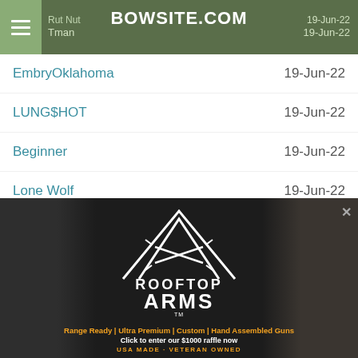BOWSITE.COM
Rut Nut  19-Jun-22
Tman  19-Jun-22
EmbryOklahoma  19-Jun-22
LUNG$HOT  19-Jun-22
Beginner  19-Jun-22
Lone Wolf  19-Jun-22
Papadeerhtr  19-Jun-22
Schmitty78  19-Jun-22
BUCKeye  19-Jun-22
goyt  19-Jun-22
Keefers  19-Jun-22
bonehead  19-Jun-22
Coondog  19-Jun-22
[Figure (photo): Rooftop Arms advertisement banner — dark background with firearms, mountain/house logo, text: ROOFTOP ARMS, Range Ready | Ultra Premium | Custom | Hand Assembled Guns, Click to enter our $1000 raffle now, USA MADE - VETERAN OWNED]